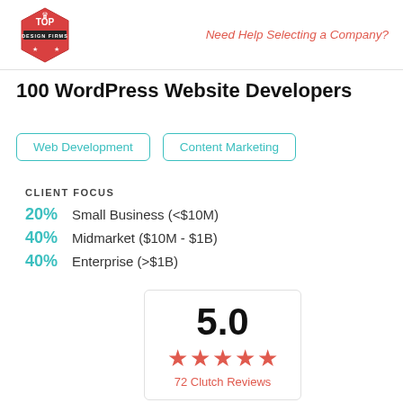Need Help Selecting a Company?
100 WordPress Website Developers
Web Development
Content Marketing
CLIENT FOCUS
20% Small Business (<$10M)
40% Midmarket ($10M - $1B)
40% Enterprise (>$1B)
[Figure (infographic): Rating box showing 5.0 score with 5 red stars and '72 Clutch Reviews' label]